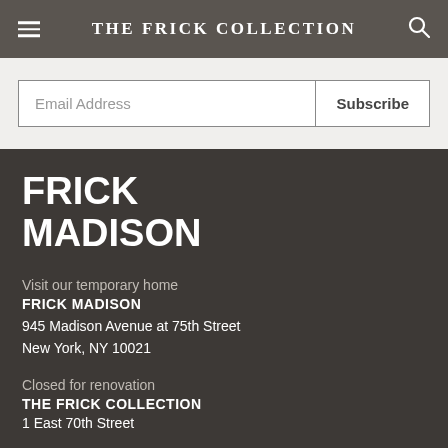THE FRICK COLLECTION
Email Address
Subscribe
FRICK MADISON
Visit our temporary home
FRICK MADISON
945 Madison Avenue at 75th Street
New York, NY 10021
Closed for renovation
THE FRICK COLLECTION
1 East 70th Street